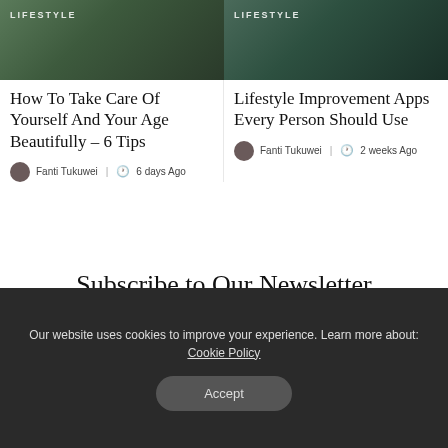[Figure (photo): Lifestyle-tagged article thumbnail image, left card, dark green tones]
How To Take Care Of Yourself And Your Age Beautifully – 6 Tips
Fanti Tukuwei | 6 days Ago
[Figure (photo): Lifestyle-tagged article thumbnail image, right card, dark green tones]
Lifestyle Improvement Apps Every Person Should Use
Fanti Tukuwei | 2 weeks Ago
Subscribe to Our Newsletter
Get the latest news, update and special offers delivered directly
Our website uses cookies to improve your experience. Learn more about: Cookie Policy
Accept